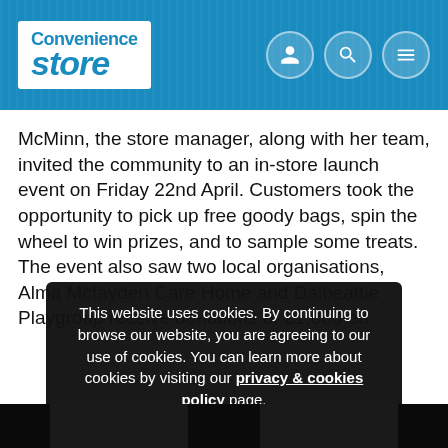[Figure (logo): Convenience Store website header with logo and navigation icons]
McMinn, the store manager, along with her team, invited the community to an in-store launch event on Friday 22nd April. Customers took the opportunity to pick up free goody bags, spin the wheel to win prizes, and to sample some treats. The event also saw two local organisations, Alma Mcfayden Care Home and Dalbeattie Playgroup receive donations of £1,000 ea
This website uses cookies. By continuing to browse our website, you are agreeing to our use of cookies. You can learn more about cookies by visiting our privacy & cookies policy page.